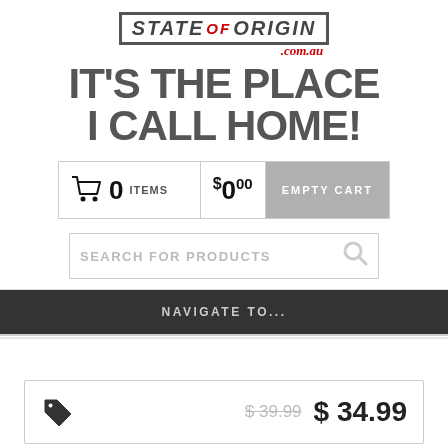[Figure (logo): State of Origin .com.au logo with stylized text and red accent]
IT'S THE PLACE I CALL HOME!
0 ITEMS $0.00 EMPTY CART
SEARCH FOR PRODUCTS
NAVIGATE TO...
$ 39.99 $ 34.99